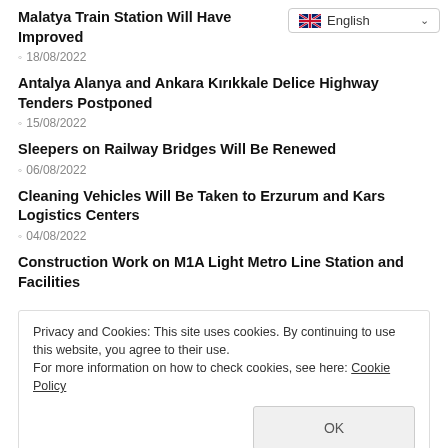Malatya Train Station Will Have Improved
18/08/2022
Antalya Alanya and Ankara Kırıkkale Delice Highway Tenders Postponed
15/08/2022
Sleepers on Railway Bridges Will Be Renewed
06/08/2022
Cleaning Vehicles Will Be Taken to Erzurum and Kars Logistics Centers
04/08/2022
Construction Work on M1A Light Metro Line Station and Facilities
Privacy and Cookies: This site uses cookies. By continuing to use this website, you agree to their use.
For more information on how to check cookies, see here: Cookie Policy
Antalya Habibi Nasson Mountain Cable Car Facility